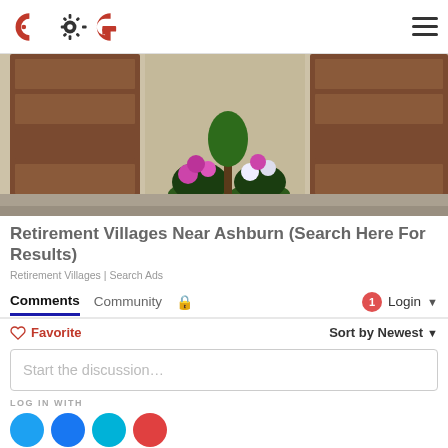COG logo and hamburger menu
[Figure (photo): Exterior photo of building with wooden garage doors and flower planters on a stone driveway]
Retirement Villages Near Ashburn (Search Here For Results)
Retirement Villages | Search Ads
Comments  Community  🔒  1  Login
♡ Favorite  Sort by Newest
Start the discussion…
LOG IN WITH